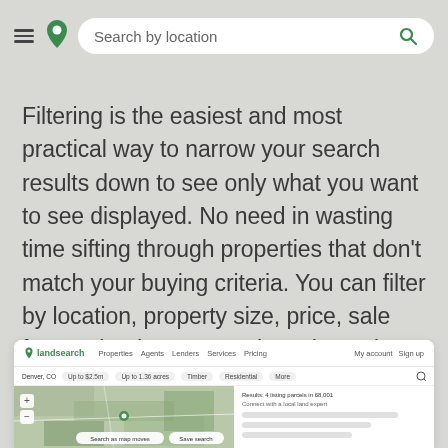[Figure (screenshot): App navigation bar with hamburger menu icon, green location pin icon, and a rounded search bar reading 'Search by location' with a green magnifying glass icon on the right]
Filtering is the easiest and most practical way to narrow your search results down to see only what you want to see displayed. No need in wasting time sifting through properties that don't match your buying criteria. You can filter by location, property size, price, sale format, land type, tags (or sub-type), listing age, and whether or not there is a structure on the property.
[Figure (screenshot): Screenshot of the Landsearch website showing the navigation header with logo, Properties, Agents, Lenders, Services, Pricing links, a filter bar with Denver CO location and acreage filters, and a map view with satellite imagery on the left and search results panel on the right]